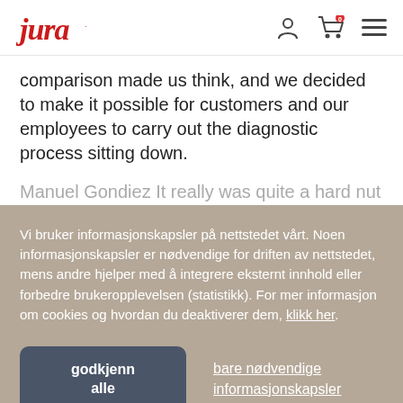Jura logo header with user, cart, and menu icons
comparison made us think, and we decided to make it possible for customers and our employees to carry out the diagnostic process sitting down.
Manuel Gondiez It really was quite a hard nut to crack...
Vi bruker informasjonskapsler på nettstedet vårt. Noen informasjonskapsler er nødvendige for driften av nettstedet, mens andre hjelper med å integrere eksternt innhold eller forbedre brukeropplevelsen (statistikk). For mer informasjon om cookies og hvordan du deaktiverer dem, klikk her.
godkjenn alle
bare nødvendige informasjonskapsler